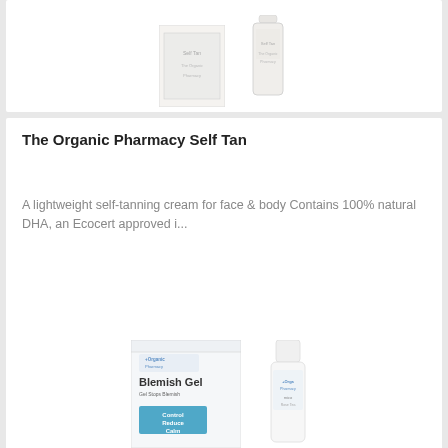[Figure (photo): Two self tan product images (box and bottle) partially visible at top of page]
The Organic Pharmacy Self Tan
A lightweight self-tanning cream for face & body Contains 100% natural DHA, an Ecocert approved i...
100ml/3.4oz
RM306
ADD TO CART
[Figure (photo): Blemish Gel product images (box labeled Blemish Gel Control Reduce Calm and a bottle) partially visible at bottom of page]